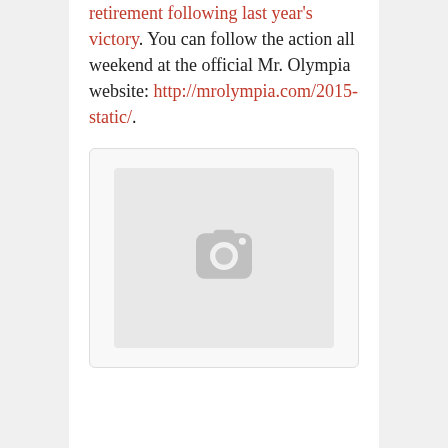retirement following last year's victory. You can follow the action all weekend at the official Mr. Olympia website: http://mrolympia.com/2015-static/.
[Figure (other): Embedded Instagram post placeholder with Instagram camera icon in gray]